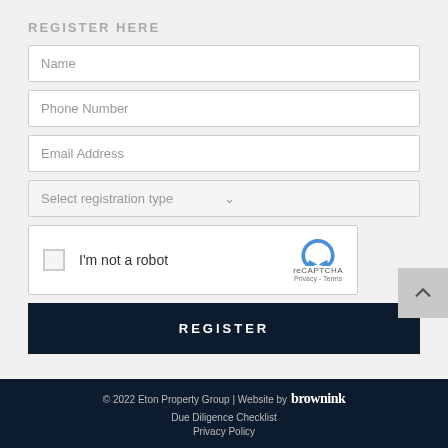REGISTER HERE
Name
Phone Number
Email Address
Select registration type
[Figure (screenshot): reCAPTCHA widget with checkbox, 'I'm not a robot' label, reCAPTCHA logo, Privacy and Terms links]
REGISTER
© 2022 Eton Property Group | Website by brownink
Due Diligence Checklist
Privacy Policy